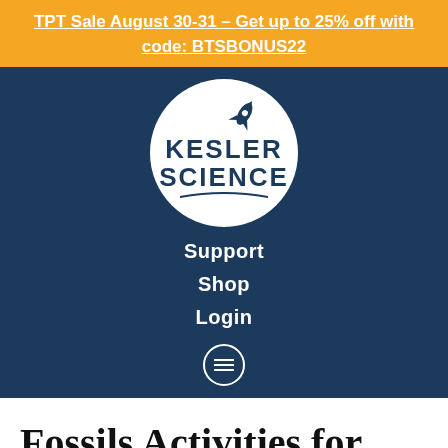TPT Sale August 30-31 – Get up to 25% off with code: BTSBONUS22
[Figure (logo): Kesler Science oval logo with rocket graphic, dark blue text on white oval background]
Support
Shop
Login
Fossils Activities for Middle School Sci…